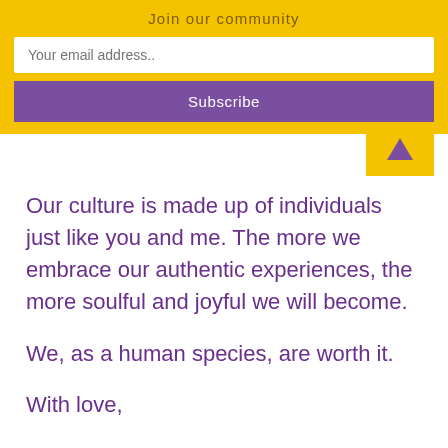Join our community
Your email address..
Subscribe
Our culture is made up of individuals just like you and me. The more we embrace our authentic experiences, the more soulful and joyful we will become.
We, as a human species, are worth it.
With love,